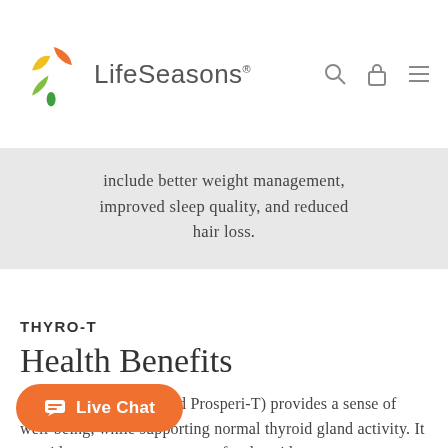LifeSeasons®
include better weight management, improved sleep quality, and reduced hair loss.
THYRO-T
Health Benefits
Thyro-T (formerly called Prosperi-T) provides a sense of well-being, while supporting normal thyroid gland activity. It provides precursors necessary for thyroid production, which supports natural and calms stress and anxiety.